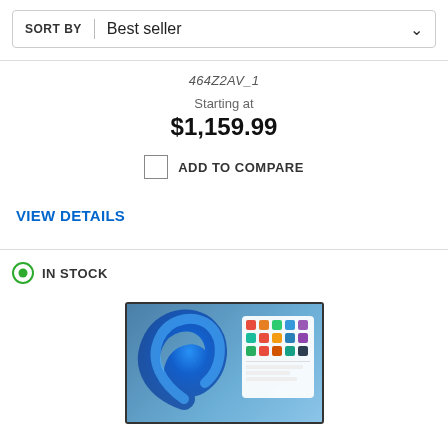SORT BY | Best seller
464Z2AV_1
Starting at
$1,159.99
ADD TO COMPARE
VIEW DETAILS
IN STOCK
[Figure (screenshot): Laptop screen showing Windows 11 interface with blue swirl wallpaper and Start menu panel]